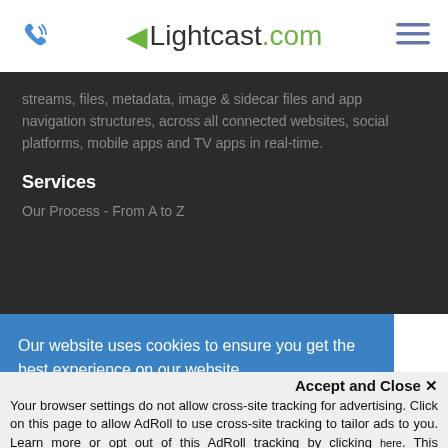Lightcast.com
streams, files, metadata, image & sidecar files and app navigation structures, across all connected websites, social platforms, mobile apps and TV apps in real-time.
Services
Our Process - From A to Z
Our website uses cookies to ensure you get the best experience on our website. Read more
Accept and Close x Your browser settings do not allow cross-site tracking for advertising. Click on this page to allow AdRoll to use cross-site tracking to tailor ads to you. Learn more or opt out of this AdRoll tracking by clicking here. This message only appears once.